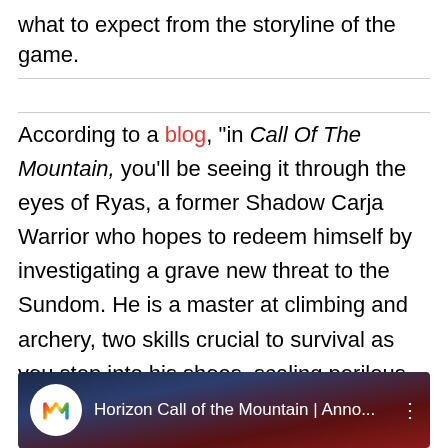what to expect from the storyline of the game.
According to a blog, “in Call Of The Mountain, you’ll be seeing it through the eyes of Ryas, a former Shadow Carja Warrior who hopes to redeem himself by investigating a grave new threat to the Sundom. He is a master at climbing and archery, two skills crucial to survival as you step into his shoes, scaling perilous mountains and taking down mighty machines like the Thunderjaw.”
[Figure (screenshot): YouTube video thumbnail showing Horizon Call of the Mountain announcement video with colorful M logo and dark reddish background]